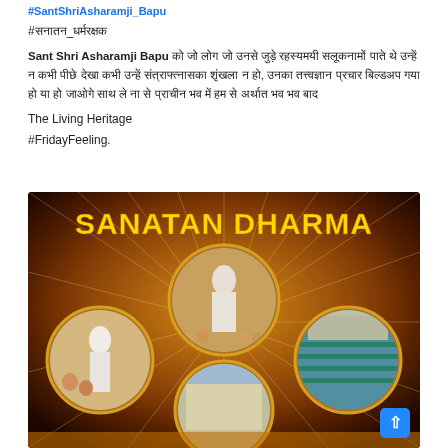#SantShriAsharamji_Bapu
#सनातन_धर्मरक्षक
Sant Shri Asharamji Bapu को जो लोग जो उनसे जुड़े रहस्यमयी सलूकनामों पाते थे उन्हें न कभी पीछे देखा कभी उन्हें संत्राफ्त्नासका शृंखला न हो, उनका तत्त्वज्ञान प्रचार बिल्डअप गया हो या हो जाओगे साथ ले ना से प्राचीन भव में हम से अर्थात भव भव बाद
The Living Heritage
#FridayFeeling.
[Figure (illustration): Promotional image with orange/brown gradient background and sunburst rays. Yellow bold text reads 'SANATAN DHARMA' at top. Four circular photo collages showing: a robed figure with crowds (top center), a person distributing/helping people (mid left), a large gathering with yoga or similar activity in rows (mid right), and a building/ashram view (bottom center).]